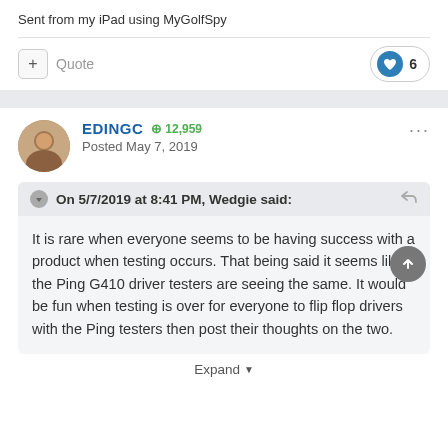Sent from my iPad using MyGolfSpy
Quote  6
EDINGC  12,959
Posted May 7, 2019
On 5/7/2019 at 8:41 PM, Wedgie said:
It is rare when everyone seems to be having success with a product when testing occurs. That being said it seems like the Ping G410 driver testers are seeing the same. It would be fun when testing is over for everyone to flip flop drivers with the Ping testers then post their thoughts on the two.
Expand